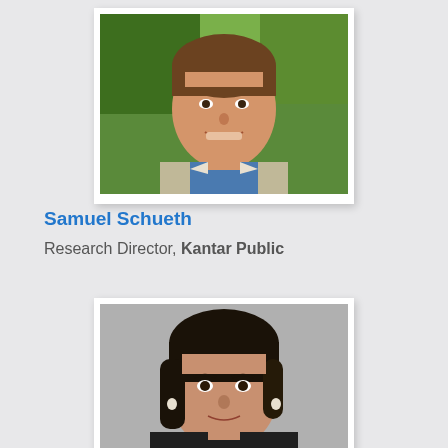[Figure (photo): Headshot of Samuel Schueth, a man smiling outdoors with green trees background, wearing a blue shirt and light jacket.]
Samuel Schueth
Research Director, Kantar Public
[Figure (photo): Headshot of a woman with dark hair, wearing small earrings, with a neutral grey background.]